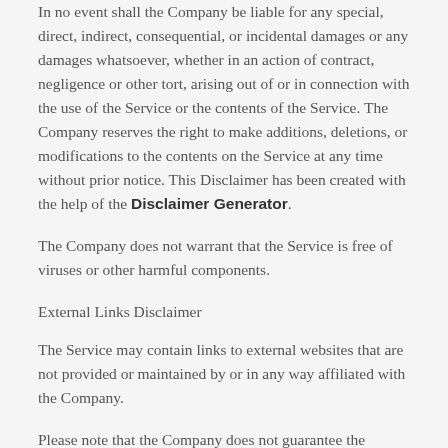In no event shall the Company be liable for any special, direct, indirect, consequential, or incidental damages or any damages whatsoever, whether in an action of contract, negligence or other tort, arising out of or in connection with the use of the Service or the contents of the Service. The Company reserves the right to make additions, deletions, or modifications to the contents on the Service at any time without prior notice. This Disclaimer has been created with the help of the Disclaimer Generator.
The Company does not warrant that the Service is free of viruses or other harmful components.
External Links Disclaimer
The Service may contain links to external websites that are not provided or maintained by or in any way affiliated with the Company.
Please note that the Company does not guarantee the accuracy, relevance, timeliness, or completeness of any